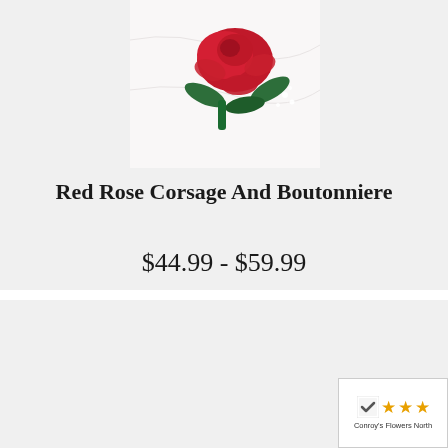[Figure (photo): Red rose corsage and boutonniere on white marble background]
Red Rose Corsage And Boutonniere
$44.99 - $59.99
[Figure (photo): Pink rose corsage and boutonniere on white background]
[Figure (logo): Conroy's Flowers North rating badge with three stars]